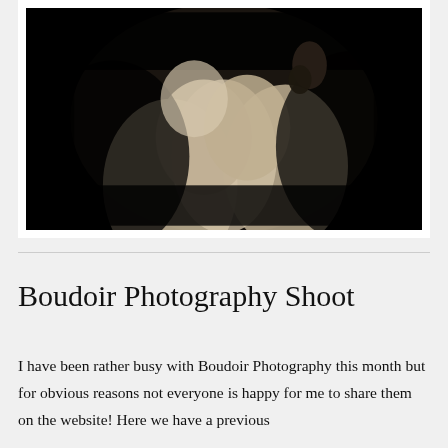[Figure (photo): Black and white boudoir photograph of a woman posing with arms crossed over her body against a dark background.]
Boudoir Photography Shoot
I have been rather busy with Boudoir Photography this month but for obvious reasons not everyone is happy for me to share them on the website!  Here we have a previous